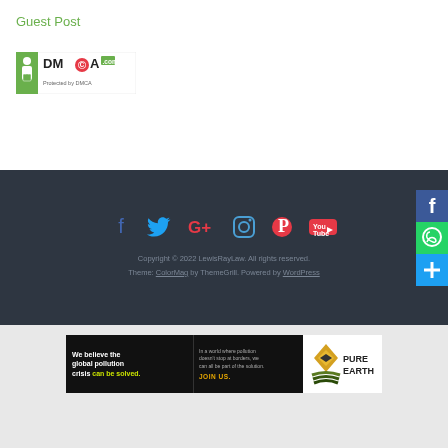Guest Post
[Figure (logo): DMCA.com logo badge - green and black logo]
Copyright © 2022 LewisRayLaw. All rights reserved.
Theme: ColorMag by ThemeGrill. Powered by WordPress
[Figure (infographic): Pure Earth advertisement banner - We believe the global pollution crisis can be solved. JOIN US.]